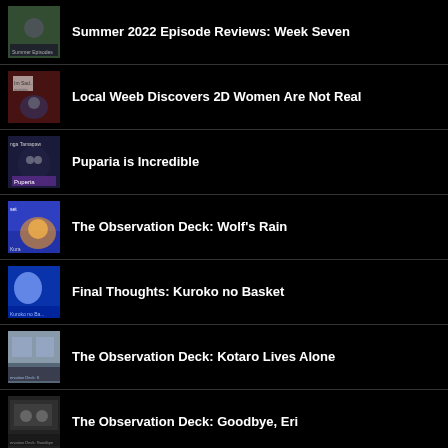Summer 2022 Episode Reviews: Week Seven
Local Weeb Discovers 2D Women Are Not Real
Puparia is Incredible
The Observation Deck: Wolf's Rain
Final Thoughts: Kuroko no Basket
The Observation Deck: Kotaro Lives Alone
The Observation Deck: Goodbye, Eri
100 followers on The Aniwriter: Thank You So Much!